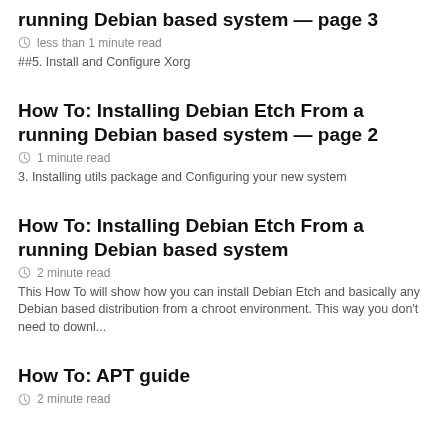running Debian based system — page 3
less than 1 minute read
##5. Install and Configure Xorg
How To: Installing Debian Etch From a running Debian based system — page 2
1 minute read
3. Installing utils package and Configuring your new system
How To: Installing Debian Etch From a running Debian based system
2 minute read
This How To will show how you can install Debian Etch and basically any Debian based distribution from a chroot environment. This way you don't need to downl...
How To: APT guide
2 minute read